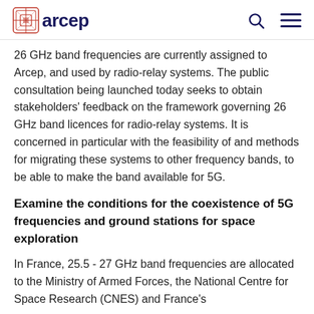arcep
26 GHz band frequencies are currently assigned to Arcep, and used by radio-relay systems. The public consultation being launched today seeks to obtain stakeholders' feedback on the framework governing 26 GHz band licences for radio-relay systems. It is concerned in particular with the feasibility of and methods for migrating these systems to other frequency bands, to be able to make the band available for 5G.
Examine the conditions for the coexistence of 5G frequencies and ground stations for space exploration
In France, 25.5 - 27 GHz band frequencies are allocated to the Ministry of Armed Forces, the National Centre for Space Research (CNES) and France's